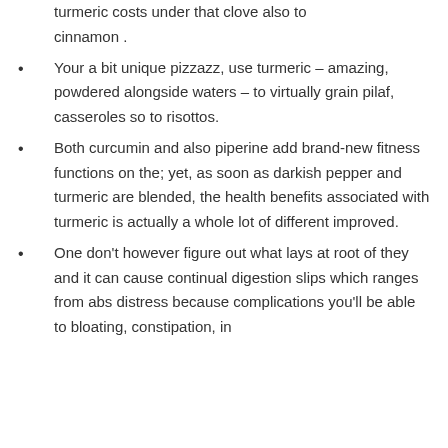turmeric costs under that clove also to cinnamon .
Your a bit unique pizzazz, use turmeric – amazing, powdered alongside waters – to virtually grain pilaf, casseroles so to risottos.
Both curcumin and also piperine add brand-new fitness functions on the; yet, as soon as darkish pepper and turmeric are blended, the health benefits associated with turmeric is actually a whole lot of different improved.
One don't however figure out what lays at root of they and it can cause continual digestion slips which ranges from abs distress because complications you'll be able to bloating, constipation, in